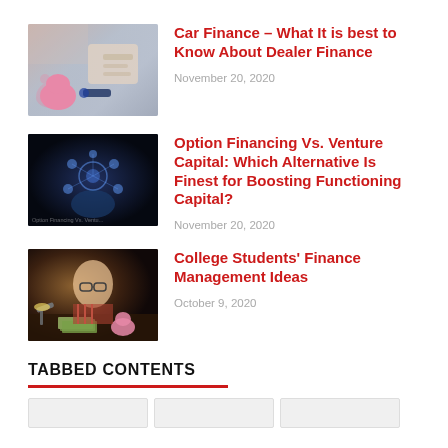[Figure (photo): Photo of a person with a piggy bank and car keys on a desk, suggesting car finance]
Car Finance – What It is best to Know About Dealer Finance
November 20, 2020
[Figure (photo): Dark futuristic image with glowing digital circles and hands, suggesting technology/financing options]
Option Financing Vs. Venture Capital: Which Alternative Is Finest for Boosting Functioning Capital?
November 20, 2020
[Figure (photo): Young student with glasses studying with money and a piggy bank on desk]
College Students' Finance Management Ideas
October 9, 2020
TABBED CONTENTS